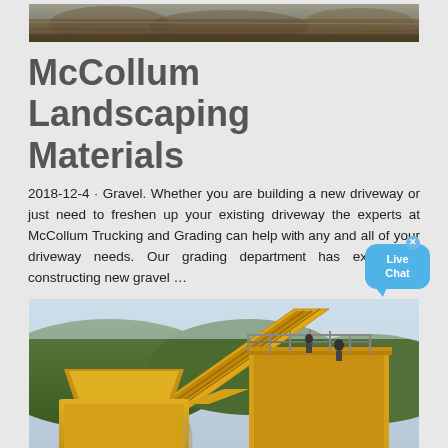[Figure (photo): Top cropped photo of gravel/earthen landscape material]
McCollum Landscaping Materials
2018-12-4 · Gravel. Whether you are building a new driveway or just need to freshen up your existing driveway the experts at McCollum Trucking and Grading can help with any and all of your driveway needs. Our grading dep... has experts in constructing new gravel …
[Figure (photo): Large yellow industrial stone crushing machinery at a quarry site with green hills in background]
How Much Does Gravel...